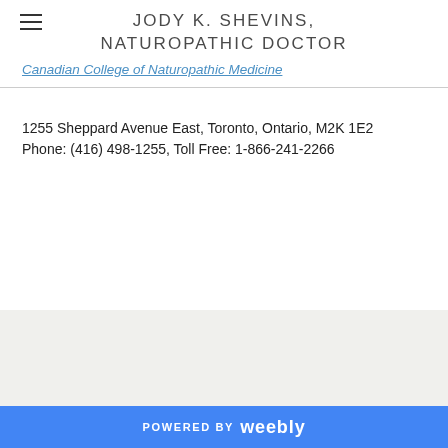JODY K. SHEVINS, NATUROPATHIC DOCTOR
Canadian College of Naturopathic Medicine
1255 Sheppard Avenue East, Toronto, Ontario, M2K 1E2
Phone: (416) 498-1255, Toll Free: 1-866-241-2266
POWERED BY weebly